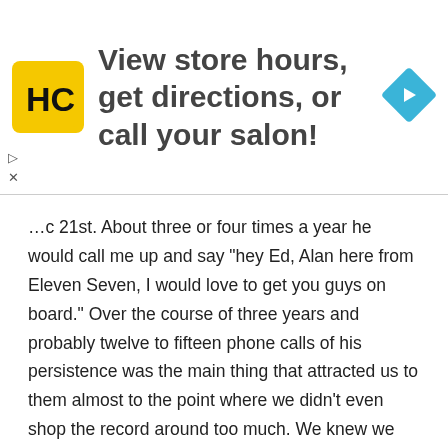[Figure (infographic): Advertisement banner with HC logo (yellow square with black HC letters), text 'View store hours, get directions, or call your salon!', and a blue diamond-shaped navigation arrow icon on the right.]
...c 21st. About three or four times a year he would call me up and say “hey Ed, Alan here from Eleven Seven, I would love to get you guys on board.” Over the course of three years and probably twelve to fifteen phone calls of his persistence was the main thing that attracted us to them almost to the point where we didn’t even shop the record around too much. We knew we wanted to go to Eleven Seven, obviously did a little shopping around, but it turned out to be a fantastic label, they’re on their game, they do a great job for us, but that’s really what it was, his persistence.